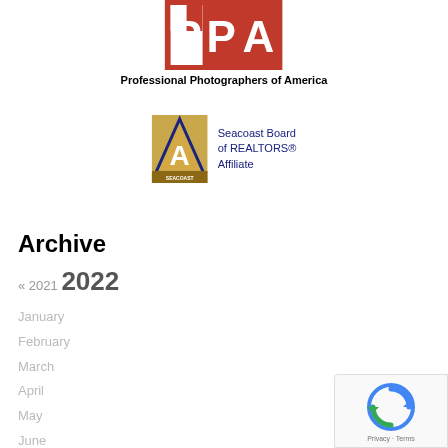[Figure (logo): PPA (Professional Photographers of America) logo - red and white block letters on red background]
Professional Photographers of America
[Figure (logo): Seacoast Board of REALTORS® Affiliate badge logo with gold triangle 'A' design]
Seacoast Board of REALTORS® Affiliate
Archive
« 2021  2022
January
February
March
April
May
June
July
[Figure (other): Google reCAPTCHA badge with Privacy and Terms links]